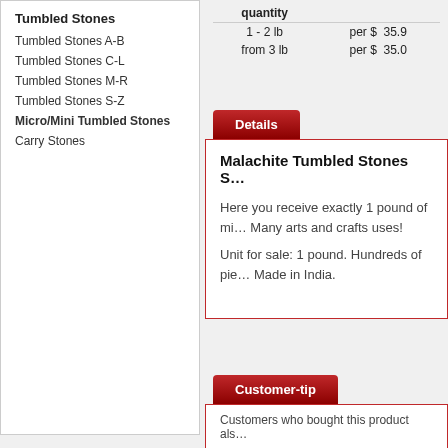Tumbled Stones
Tumbled Stones A-B
Tumbled Stones C-L
Tumbled Stones M-R
Tumbled Stones S-Z
Micro/Mini Tumbled Stones
Carry Stones
| quantity |  |
| --- | --- |
| 1 - 2 lb | per $  35.9 |
| from 3 lb | per $  35.0 |
Details
Malachite Tumbled Stones S…
Here you receive exactly 1 pound of mi… Many arts and crafts uses!
Unit for sale: 1 pound. Hundreds of pie… Made in India.
Customer-tip
Customers who bought this product als…